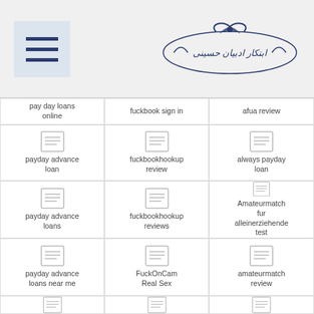[Figure (screenshot): Website screenshot with hamburger menu icon and Persian/Arabic logo in header, followed by a 3-column grid of link tiles]
pay day loans online
fuckbook sign in
afua review
payday advance loan
fuckbookhookup review
always payday loan
payday advance loans
fuckbookhookup reviews
Amateurmatch fur alleinerziehende test
payday advance loans near me
FuckOnCam Real Sex
amateurmatch review